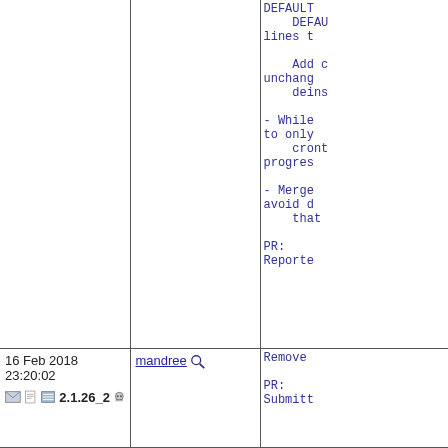| Date/Info | Author | Description |
| --- | --- | --- |
|  |  | DEFAULT
    DEFAULT
lines t

    Add c
unchang
    deins

- While
to only
    cront
progres

- Merge
avoid d
    that

PR:
Reporte |
| 16 Feb 2018 23:20:02
[icons] 2.1.26_2 [skull] | mandree [search] | Remove

PR:
Submitt |
| 11 Feb 2018 23:20:58
[icons] 2.1.26_2 [skull] | mandree [search] | mail/ma
extraco

...and
The pre
through |